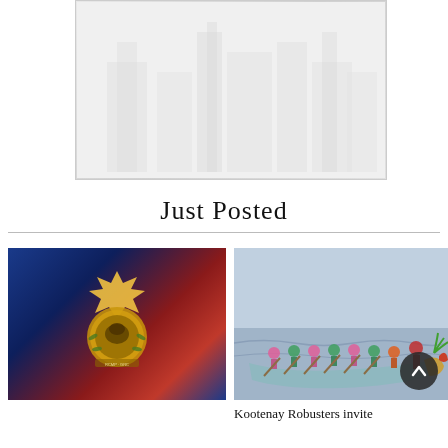[Figure (photo): Faded/washed-out architectural or cityscape image in a bordered box at the top of the page]
Just Posted
[Figure (photo): RCMP police badge logo on blue and red flashing police lights background]
[Figure (photo): Dragon boat racing team paddling on water, people in colorful outfits, decorated bow]
Kootenay Robusters invite